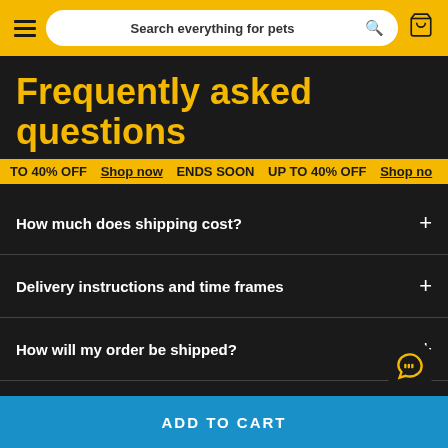Search everything for pets
Frequently asked questions
TO 40% OFF Shop now ENDS SOON UP TO 40% OFF Shop now
How much does shipping cost?
Delivery instructions and time frames
How will my order be shipped?
Do I need to be home to receive my delivery?
ADD TO CART